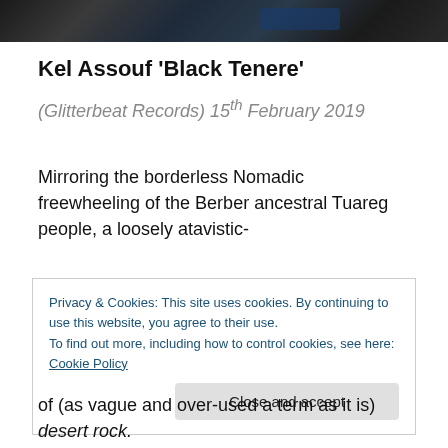[Figure (photo): Partial photo strip showing dark rocky/gravel surface with a glimpse of blue color at the top of the page]
Kel Assouf 'Black Tenere'
(Glitterbeat Records) 15th February 2019
Mirroring the borderless Nomadic freewheeling of the Berber ancestral Tuareg people, a loosely atavistic-
Privacy & Cookies: This site uses cookies. By continuing to use this website, you agree to their use.
To find out more, including how to control cookies, see here: Cookie Policy
[Close and accept]
of (as vague and over-used a term as it is) desert rock.